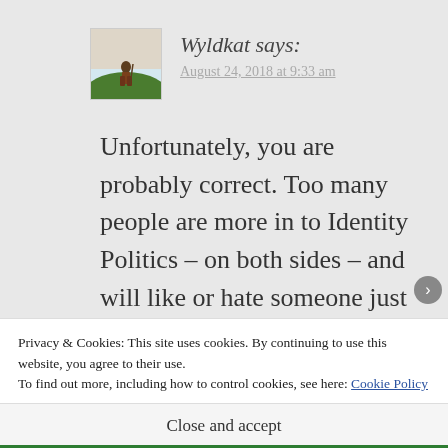[Figure (illustration): Avatar image of a hobbit-like figure standing on a hill at sunset]
Wyldkat says:
August 24, 2018 at 9:33 am
Unfortunately, you are probably correct. Too many people are more in to Identity Politics – on both sides – and will like or hate someone just because they are [insert label here]
Privacy & Cookies: This site uses cookies. By continuing to use this website, you agree to their use.
To find out more, including how to control cookies, see here: Cookie Policy
Close and accept